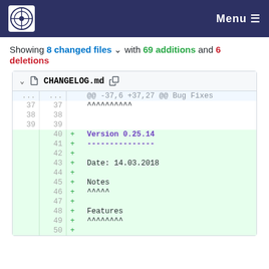Menu
Showing 8 changed files with 69 additions and 6 deletions
| old_ln | new_ln | sign | content |
| --- | --- | --- | --- |
| ... | ... |  | @@ -37,6 +37,27 @@ Bug Fixes |
| 37 | 37 |  | ^^^^^^^^^^ |
| 38 | 38 |  |  |
| 39 | 39 |  |  |
|  | 40 | + | Version 0.25.14 |
|  | 41 | + | --------------- |
|  | 42 | + |  |
|  | 43 | + | Date: 14.03.2018 |
|  | 44 | + |  |
|  | 45 | + | Notes |
|  | 46 | + | ^^^^^ |
|  | 47 | + |  |
|  | 48 | + | Features |
|  | 49 | + | ^^^^^^^^ |
|  | 50 | + |  |